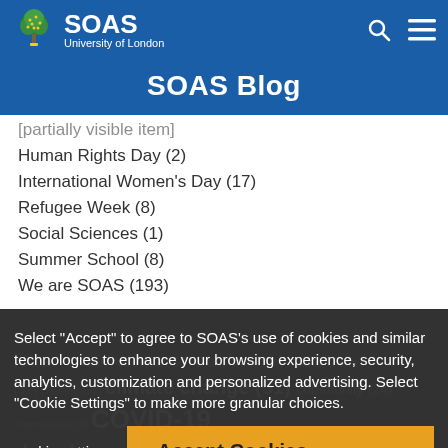[Figure (logo): SOAS University of London logo with tree icon on blue header bar]
SOAS Blog
Human Rights Day (2)
International Women's Day (17)
Refugee Week (8)
Social Sciences (1)
Summer School (8)
We are SOAS (193)
Tags
Select "Accept" to agree to SOAS's use of cookies and similar technologies to enhance your browsing experience, security, analytics, customization and personalized advertising. Select "Cookie Settings" to make more granular choices.
climate change (51)  community (24)  COVID-19  development (56)  Development Studies (24)  Donald Trump (2)